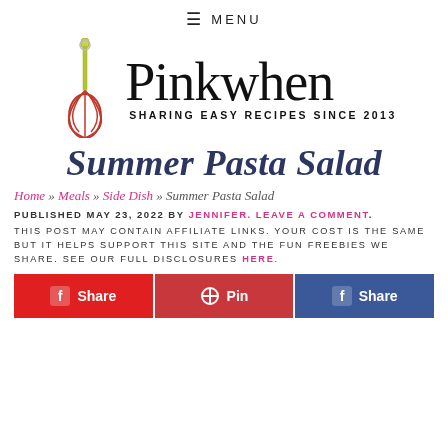≡ MENU
[Figure (logo): PinkWhen logo with whisk illustration and script text 'Pinkwhen' and tagline 'SHARING EASY RECIPES SINCE 2013']
Summer Pasta Salad
Home » Meals » Side Dish » Summer Pasta Salad
PUBLISHED MAY 23, 2022 BY JENNIFER. LEAVE A COMMENT.
THIS POST MAY CONTAIN AFFILIATE LINKS. YOUR COST IS THE SAME BUT IT HELPS SUPPORT THIS SITE AND THE FUN FREEBIES WE SHARE. SEE OUR FULL DISCLOSURES HERE.
Share  Pin  Share